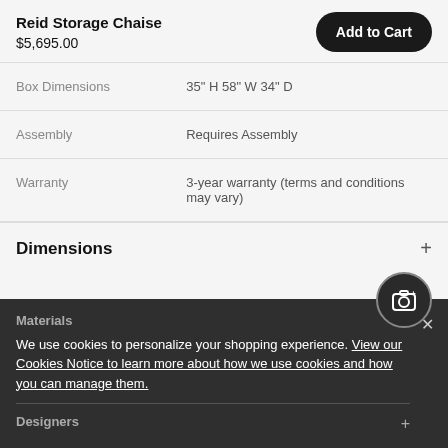Reid Storage Chaise
$5,695.00
| Attribute | Value |
| --- | --- |
| Box Dimensions | 35" H 58" W 34" D |
| Assembly | Requires Assembly |
| Warranty | 3-year warranty (terms and conditions may vary) |
Dimensions
Materials
Designers
We use cookies to personalize your shopping experience. View our Cookies Notice to learn more about how we use cookies and how you can manage them.